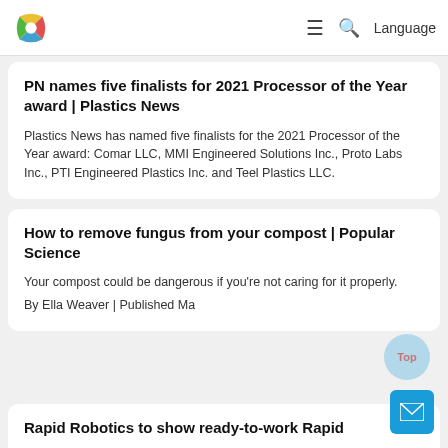Logo | Menu | Search | Language
PN names five finalists for 2021 Processor of the Year award | Plastics News
Plastics News has named five finalists for the 2021 Processor of the Year award: Comar LLC, MMI Engineered Solutions Inc., Proto Labs Inc., PTI Engineered Plastics Inc. and Teel Plastics LLC.
How to remove fungus from your compost | Popular Science
Your compost could be dangerous if you're not caring for it properly.
By Ella Weaver | Published Ma
Rapid Robotics to show ready-to-work Rapid